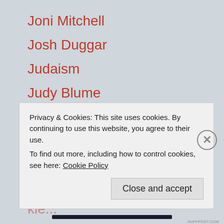Joni Mitchell
Josh Duggar
Judaism
Judy Blume
Karaoke
Kavanaugh
kick his ask
Kik
Privacy & Cookies: This site uses cookies. By continuing to use this website, you agree to their use.
To find out more, including how to control cookies, see here: Cookie Policy
Close and accept